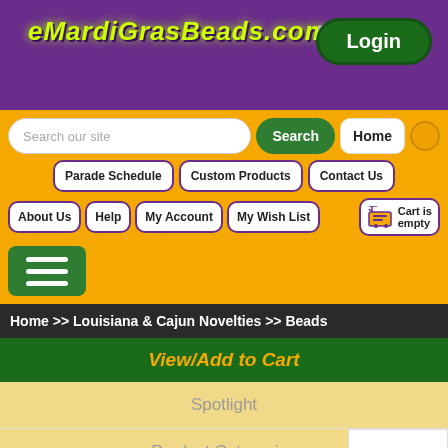[Figure (screenshot): eMardi Gras Beads website header with purple background and neon green logo text]
eMardiGrasBeads.com
Login
Search our site
Search
Home
Parade Schedule
Custom Products
Contact Us
About Us
Help
My Account
My Wish List
Cart is empty
Home >> Louisiana & Cajun Novelties >> Beads
View/Add to Cart
Spotlight
Product Categories
EF36